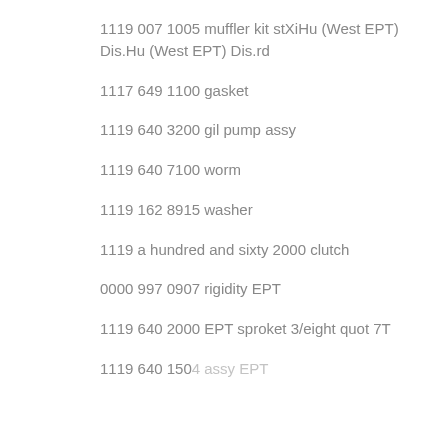1119 007 1005 muffler kit stXiHu (West EPT) Dis.Hu (West EPT) Dis.rd
1117 649 1100 gasket
1119 640 3200 gil pump assy
1119 640 7100 worm
1119 162 8915 washer
1119 a hundred and sixty 2000 clutch
0000 997 0907 rigidity EPT
1119 640 2000 EPT sproket 3/eight quot 7T
1119 640 1504 assy EPT